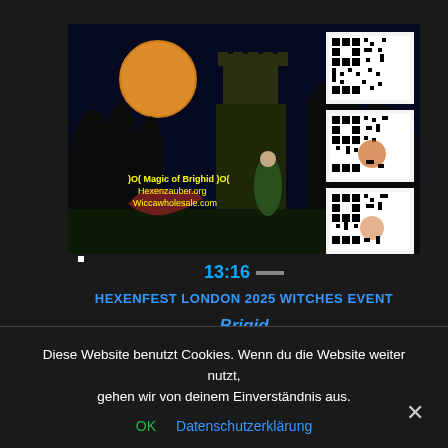[Figure (photo): Composite fantasy image showing a moonlit castle tower at night with a full orange moon, a woman figure in green dress, dragons, and three QR codes on the right side. Text overlay reads ')O( Magic of Brighid )O( Hexenzauber.org Wiccawholesale.com']
13:16 —
HEXENFEST LONDON 2025 WITCHES EVENT
Brigid
Sorcières nouvelles a Brighid en Français. a partir de www.jahreskreisfeste.de le plus grand festival de sorcellerie tenue dans le Monde
Diese Website benutzt Cookies. Wenn du die Website weiter nutzt, gehen wir von deinem Einverständnis aus.
OK   Datenschutzerklärung